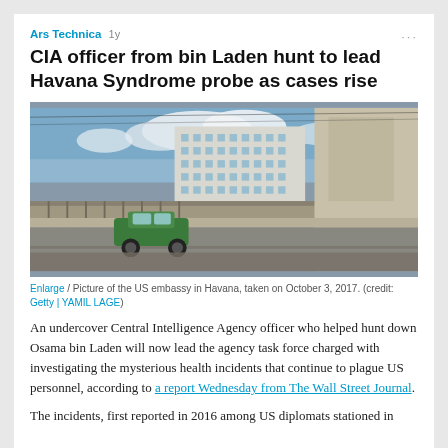Ars Technica 1y
CIA officer from bin Laden hunt to lead Havana Syndrome probe as cases rise
[Figure (photo): Street-level photograph of the US Embassy building in Havana, Cuba. A green vintage car is driving on the road in front of the large modernist white embassy building. Blue sky with clouds is visible above.]
Enlarge / Picture of the US embassy in Havana, taken on October 3, 2017. (credit: Getty | YAMIL LAGE)
An undercover Central Intelligence Agency officer who helped hunt down Osama bin Laden will now lead the agency task force charged with investigating the mysterious health incidents that continue to plague US personnel, according to a report Wednesday from The Wall Street Journal.
The incidents, first reported in 2016 among US diplomats stationed in